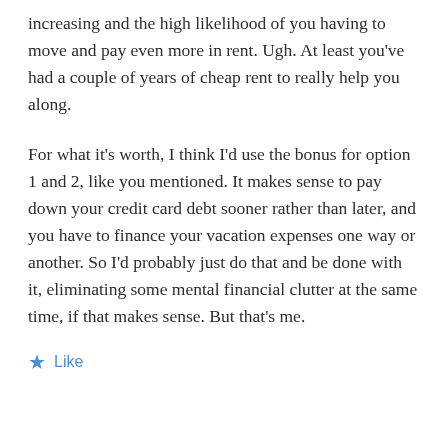increasing and the high likelihood of you having to move and pay even more in rent. Ugh. At least you've had a couple of years of cheap rent to really help you along.
For what it's worth, I think I'd use the bonus for option 1 and 2, like you mentioned. It makes sense to pay down your credit card debt sooner rather than later, and you have to finance your vacation expenses one way or another. So I'd probably just do that and be done with it, eliminating some mental financial clutter at the same time, if that makes sense. But that's me.
Like